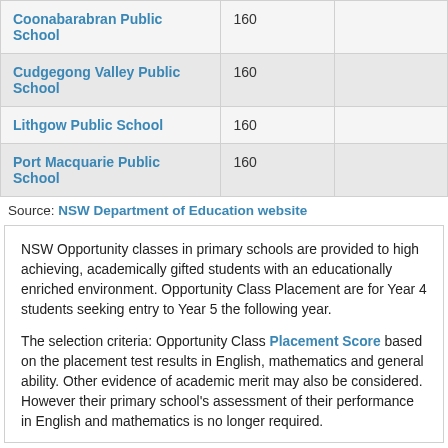| School | Places |  |
| --- | --- | --- |
| Coonabarabran Public School | 160 |  |
| Cudgegong Valley Public School | 160 |  |
| Lithgow Public School | 160 |  |
| Port Macquarie Public School | 160 |  |
Source: NSW Department of Education website
NSW Opportunity classes in primary schools are provided to high achieving, academically gifted students with an educationally enriched environment. Opportunity Class Placement are for Year 4 students seeking entry to Year 5 the following year.
The selection criteria: Opportunity Class Placement Score based on the placement test results in English, mathematics and general ability. Other evidence of academic merit may also be considered. However their primary school's assessment of their performance in English and mathematics is no longer required.